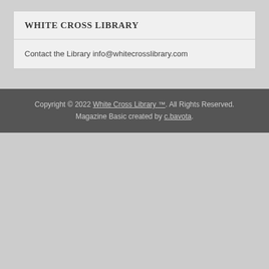WHITE CROSS LIBRARY
Contact the Library info@whitecrosslibrary.com
Copyright © 2022 White Cross Library ™. All Rights Reserved. Magazine Basic created by c.bavota.